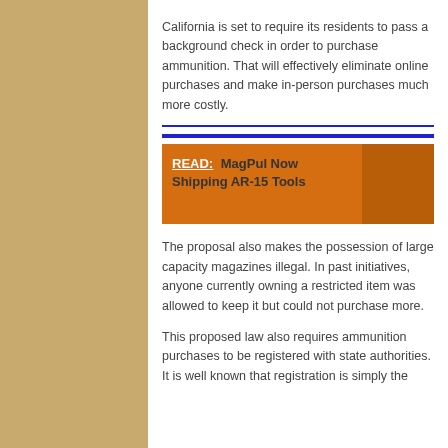California is set to require its residents to pass a background check in order to purchase ammunition. That will effectively eliminate online purchases and make in-person purchases much more costly.
[Figure (other): Horizontal blue divider lines separating content sections]
[Figure (other): Orange banner with READ: MagPul Now Shipping AR-15 Tools text and darker orange image placeholder on right]
The proposal also makes the possession of large capacity magazines illegal. In past initiatives, anyone currently owning a restricted item was allowed to keep it but could not purchase more.
This proposed law also requires ammunition purchases to be registered with state authorities. It is well known that registration is simply the